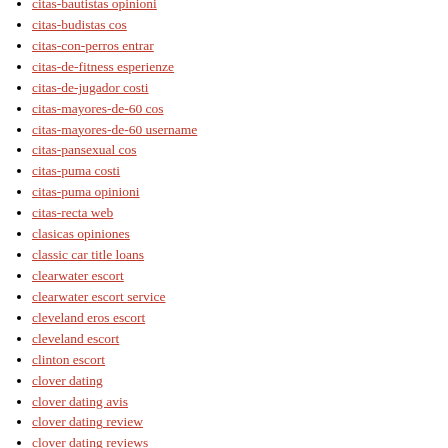citas-bautistas opinioni
citas-budistas cos
citas-con-perros entrar
citas-de-fitness esperienze
citas-de-jugador costi
citas-mayores-de-60 cos
citas-mayores-de-60 username
citas-pansexual cos
citas-puma costi
citas-puma opinioni
citas-recta web
clasicas opiniones
classic car title loans
clearwater escort
clearwater escort service
cleveland eros escort
cleveland escort
clinton escort
clover dating
clover dating avis
clover dating review
clover dating reviews
Clover qu'est ce que
clover review
clover reviews